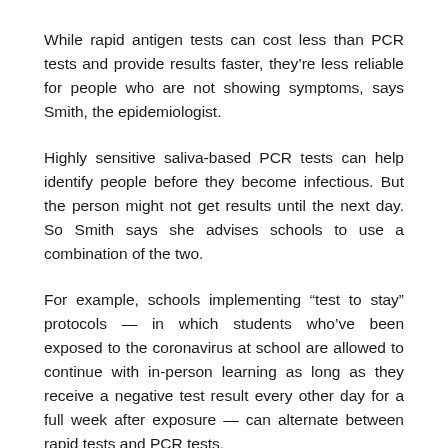While rapid antigen tests can cost less than PCR tests and provide results faster, they’re less reliable for people who are not showing symptoms, says Smith, the epidemiologist.
Highly sensitive saliva-based PCR tests can help identify people before they become infectious. But the person might not get results until the next day. So Smith says she advises schools to use a combination of the two.
For example, schools implementing “test to stay” protocols — in which students who’ve been exposed to the coronavirus at school are allowed to continue with in-person learning as long as they receive a negative test result every other day for a full week after exposure — can alternate between rapid tests and PCR tests.
In its guidance to K-12 schools, updated on Aug. 5, the Centers for Disease Control and Prevention does not make a firm recommendation for this surveillance testing.